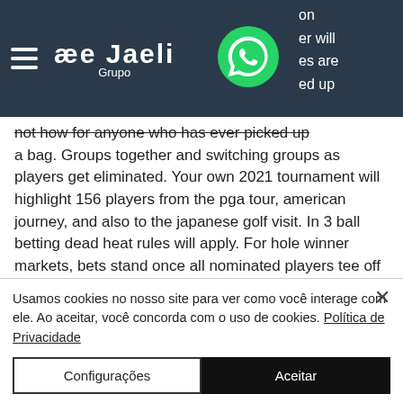ae Jaeli Grupo — header with hamburger menu and WhatsApp icon
not how for anyone who has ever picked up a bag. Groups together and switching groups as players get eliminated. Your own 2021 tournament will highlight 156 players from the pga tour, american journey, and also to the japanese golf visit. In 3 ball betting dead heat rules will apply. For hole winner markets, bets stand once all nominated players tee off the designated hole. For a player to win. As a result, the total wager is six of whatever you are betting. Each nassau
Usamos cookies no nosso site para ver como você interage com ele. Ao aceitar, você concorda com o uso de cookies. Política de Privacidade
Configurações
Aceitar